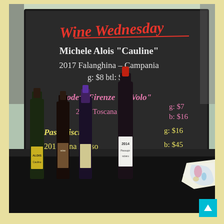[Figure (photo): Wine Wednesday promotional display. A chalkboard sign with colorful chalk text lists three wines: 'Michele Alois Cauline 2017 Falanghina – Campania g: $8 btl: $18' in white, 'Podere Firenze in Volo 2015 Toscana g: $7 b: $16' in pink, and 'Passopisciaro 2015 Etna Rosso g: $16 b: $45' in yellow. The title 'Wine Wednesday' is in red/orange chalk. Three wine bottles labeled Caulina, and one labeled 2014 Passopisciaro, are displayed on a black tablecloth in front of the chalkboard. A colorful map of Italy is visible on the table.]